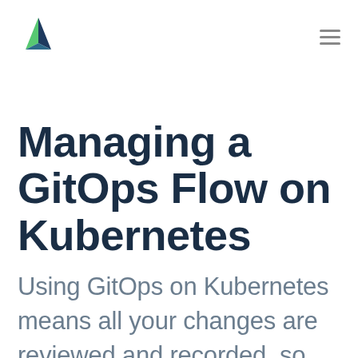[Figure (logo): Atlassian-style triangular mountain logo with dark teal and green facets]
Managing a GitOps Flow on Kubernetes
Using GitOps on Kubernetes means all your changes are reviewed and recorded, so you can move more quickly because everything is